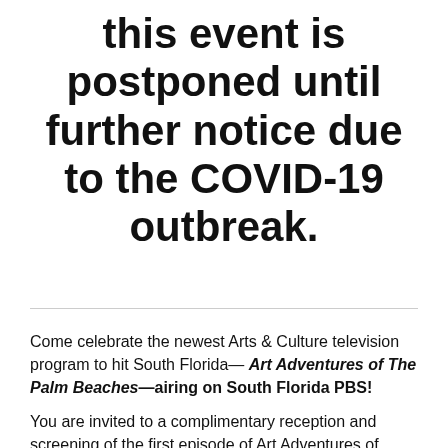this event is postponed until further notice due to the COVID-19 outbreak.
Come celebrate the newest Arts & Culture television program to hit South Florida— Art Adventures of The Palm Beaches—airing on South Florida PBS!
You are invited to a complimentary reception and screening of the first episode of Art Adventures of